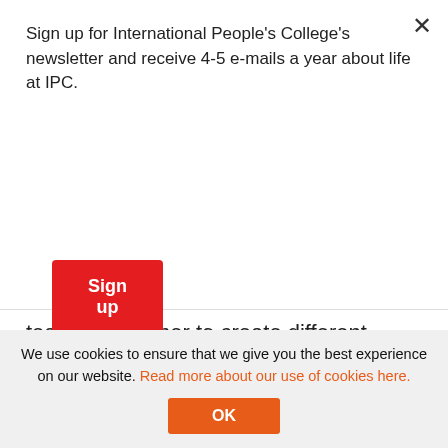Sign up for International People's College's newsletter and receive 4-5 e-mails a year about life at IPC.
Sign up
teach each other to create different courses from all over the world, or bake birthday cakes for each other birthdays. Sometimes students will also cook in different classes – like for example making Danish 'smørrebrød' in Exploring Denmark, or taste different European dishes in European Studies. Food is served in Dining Hall three times a day, and small snacks, coffee and tea is provided throughout the day. If students go on excursions
We use cookies to ensure that we give you the best experience on our website. Read more about our use of cookies here.
OK